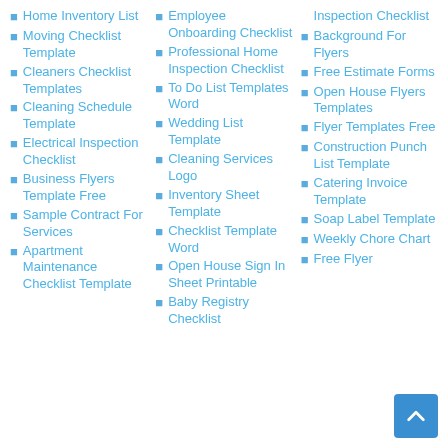Home Inventory List
Moving Checklist Template
Cleaners Checklist Templates
Cleaning Schedule Template
Electrical Inspection Checklist
Business Flyers Template Free
Sample Contract For Services
Apartment Maintenance Checklist Template
Employee Onboarding Checklist
Professional Home Inspection Checklist
To Do List Templates Word
Wedding List Template
Cleaning Services Logo
Inventory Sheet Template
Checklist Template Word
Open House Sign In Sheet Printable
Baby Registry Checklist
Inspection Checklist
Background For Flyers
Free Estimate Forms
Open House Flyers Templates
Flyer Templates Free
Construction Punch List Template
Catering Invoice Template
Soap Label Template
Weekly Chore Chart
Free Flyer